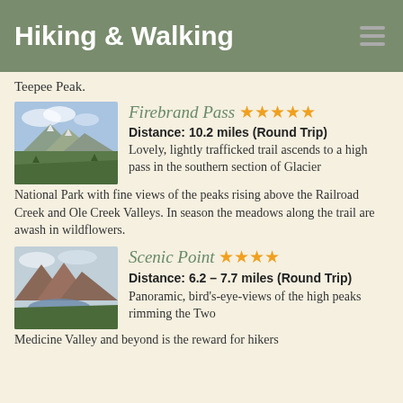Hiking & Walking
Teepee Peak.
Firebrand Pass ★★★★★
Distance: 10.2 miles (Round Trip)
Lovely, lightly trafficked trail ascends to a high pass in the southern section of Glacier National Park with fine views of the peaks rising above the Railroad Creek and Ole Creek Valleys. In season the meadows along the trail are awash in wildflowers.
[Figure (photo): Mountain landscape with peaks and green slopes, Firebrand Pass trail]
Scenic Point ★★★★
Distance: 6.2 – 7.7 miles (Round Trip)
Panoramic, bird's-eye-views of the high peaks rimming the Two Medicine Valley and beyond is the reward for hikers
[Figure (photo): Mountain valley with lake and reddish peaks, Scenic Point trail]